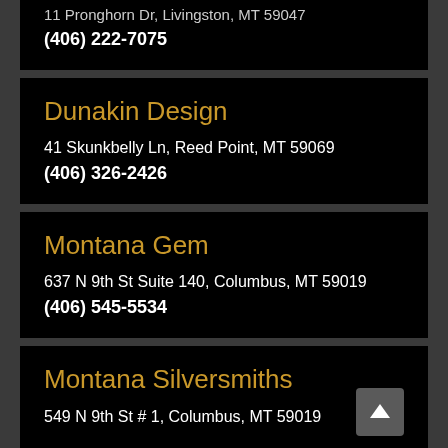11 Pronghorn Dr, Livingston, MT 59047
(406) 222-7075
Dunakin Design
41 Skunkbelly Ln, Reed Point, MT 59069
(406) 326-2426
Montana Gem
637 N 9th St Suite 140, Columbus, MT 59019
(406) 545-5534
Montana Silversmiths
549 N 9th St # 1, Columbus, MT 59019